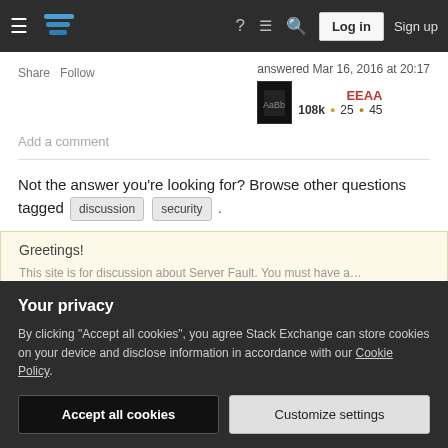Stack Exchange navigation bar with Log in and Sign up buttons
Share  Follow    answered Mar 16, 2016 at 20:17   EEAA  108k ● 25 ● 45
Add a comment
Not the answer you're looking for? Browse other questions tagged discussion security .
Greetings!
This site is for discussion about Server Fault. You must have...
Your privacy
By clicking "Accept all cookies", you agree Stack Exchange can store cookies on your device and disclose information in accordance with our Cookie Policy.
Accept all cookies   Customize settings